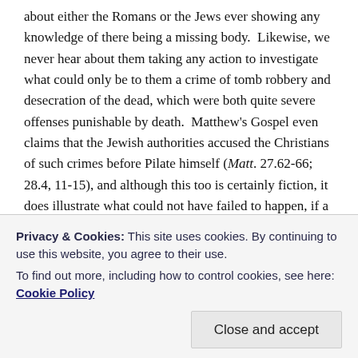about either the Romans or the Jews ever showing any knowledge of there being a missing body.  Likewise, we never hear about them taking any action to investigate what could only be to them a crime of tomb robbery and desecration of the dead, which were both quite severe offenses punishable by death.  Matthew's Gospel even claims that the Jewish authorities accused the Christians of such crimes before Pilate himself (Matt. 27.62-66; 28.4, 11-15), and although this too is certainly fiction, it does illustrate what could not have failed to happen, if a body actually went missing.
REPORT THIS AD
Privacy & Cookies: This site uses cookies. By continuing to use this website, you agree to their use.
To find out more, including how to control cookies, see here: Cookie Policy
Close and accept
have been secondary suspects, if indeed Joseph of